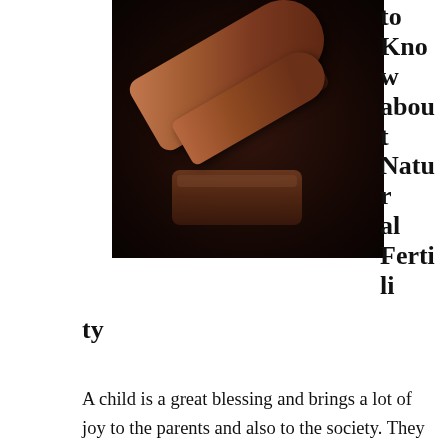[Figure (photo): Close-up photo of a wooden judge's gavel on a dark background]
to Know about Natural Fertility
A child is a great blessing and brings a lot of joy to the parents and also to the society. They help to form a family and that is a basic foundation of the society. However, it all starts with the conception of that baby but it is not always a successful case many people. Trying to conceive naturally is definitely recommended but after trying for many years, giving up can be easy. There is hope, however because when it comes to natural fertility, you need to be well informed. Having the right information can be a good way of ensuring that you are able to